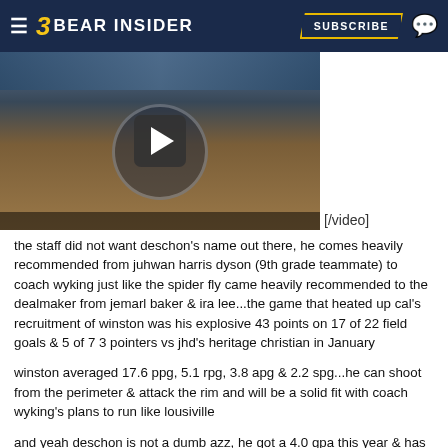BEAR INSIDER — SUBSCRIBE
[Figure (screenshot): Basketball game video thumbnail with play button overlay, showing players on a court. Text tag '[/video]' appears to the right of the video.]
the staff did not want deschon's name out there, he comes heavily recommended from juhwan harris dyson (9th grade teammate) to coach wyking just like the spider fly came heavily recommended to the dealmaker from jemarl baker & ira lee...the game that heated up cal's recruitment of winston was his explosive 43 points on 17 of 22 field goals & 5 of 7 3 pointers vs jhd's heritage christian in January
winston averaged 17.6 ppg, 5.1 rpg, 3.8 apg & 2.2 spg...he can shoot from the perimeter & attack the rim and will be a solid fit with coach wyking's plans to run like lousiville
and yeah deschon is not a dumb azz, he got a 4.0 gpa this year & has already completed junior college classes...the 1st recruit of coach wyking's era is a true student athlete, he will not struggle academically like charlie in berkeley